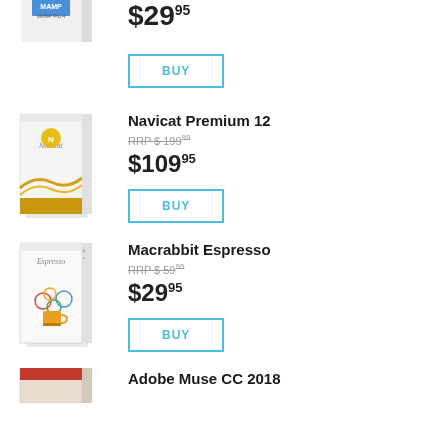[Figure (illustration): Partial product box image of MAMP Pro 4 software at top of page]
$29.95
BUY
[Figure (illustration): Product box image of Navicat Premium 12 with gold wave design]
Navicat Premium 12
RRP $ 199.99 (strikethrough)
$109.95
BUY
[Figure (illustration): Product box image of Macrabbit Espresso with colorful coffee cup illustration]
Macrabbit Espresso
RRP $ 59.95 (strikethrough)
$29.95
BUY
[Figure (illustration): Partial product box image of Adobe Muse CC 2018 at bottom of page]
Adobe Muse CC 2018